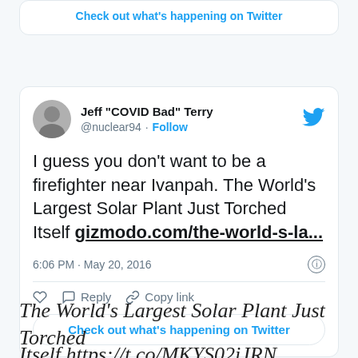Check out what's happening on Twitter
[Figure (screenshot): Tweet by Jeff "COVID Bad" Terry (@nuclear94) saying: I guess you don't want to be a firefighter near Ivanpah. The World's Largest Solar Plant Just Torched Itself gizmodo.com/the-world-s-la... -- posted 6:06 PM · May 20, 2016, with like, reply, copy link actions and a 'Check out what's happening on Twitter' button]
The World's Largest Solar Plant Just Torched Itself https://t.co/MKYS02iJRN